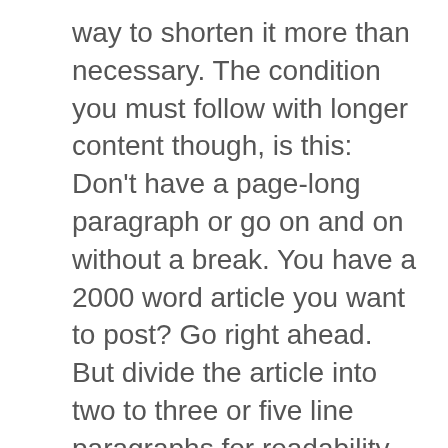way to shorten it more than necessary. The condition you must follow with longer content though, is this: Don't have a page-long paragraph or go on and on without a break. You have a 2000 word article you want to post? Go right ahead. But divide the article into two to three or five line paragraphs for readability and use a comfortable font. And, if you can use sub-headings too, please do!
For Quality Content Writing Services Contact SEO Freelancer Mumbai @+91-8451924760 or yogesh@seofreelancermumbai.in Now!
Treat Your Content like A Product